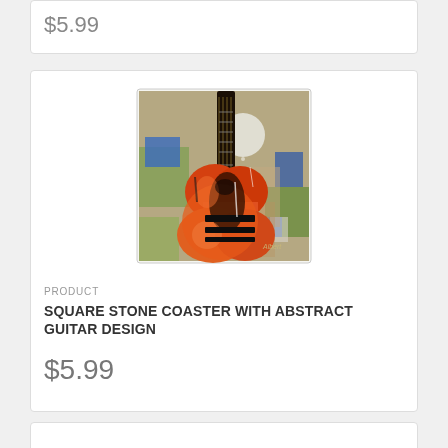$5.99
[Figure (photo): Abstract painting of a guitar on a square stone coaster. The painting shows an electric guitar in orange/red tones against a colorful mixed-media background with blues, greens, and browns. Artist signature 'Albert' visible in lower right.]
PRODUCT
SQUARE STONE COASTER WITH ABSTRACT GUITAR DESIGN
$5.99